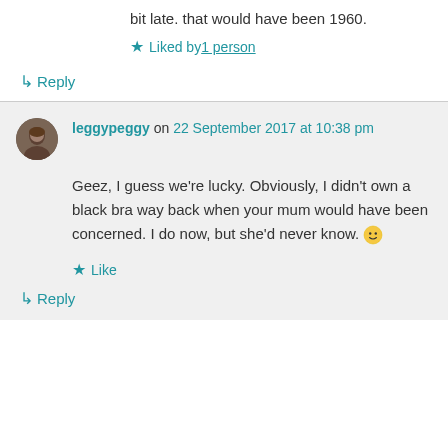bit late. that would have been 1960.
★ Liked by 1 person
↳ Reply
leggypeggy on 22 September 2017 at 10:38 pm
Geez, I guess we're lucky. Obviously, I didn't own a black bra way back when your mum would have been concerned. I do now, but she'd never know. 🙂
★ Like
↳ Reply